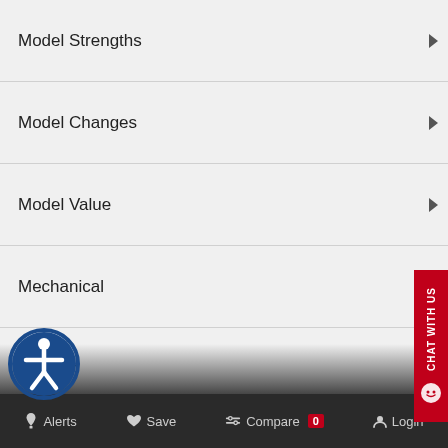Model Strengths
Model Changes
Model Value
Mechanical
Exterior
Entertainment
Interior
Alerts   Save   Compare 0   Login